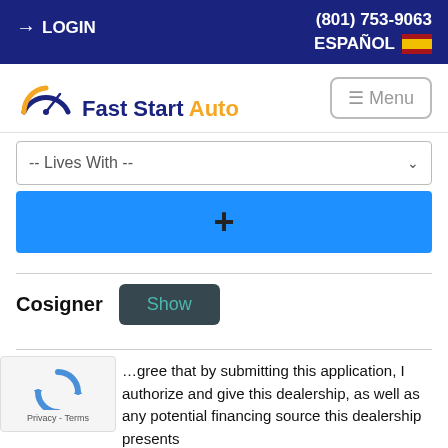LOGIN  (801) 753-9063  ESPAÑOL
[Figure (logo): Fast Start Auto logo with speedometer icon]
-- Lives With --
+
Cosigner  Show
…gree that by submitting this application, I authorize and give this dealership, as well as any potential financing source this dealership presents